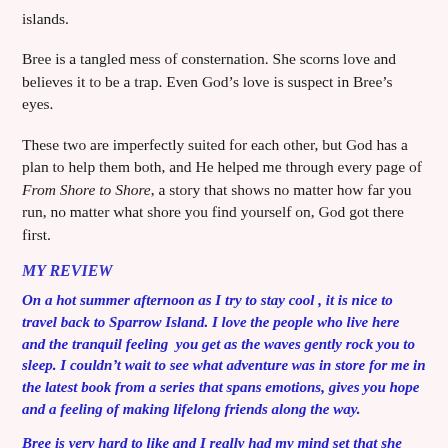islands.
Bree is a tangled mess of consternation. She scorns love and believes it to be a trap. Even God’s love is suspect in Bree’s eyes.
These two are imperfectly suited for each other, but God has a plan to help them both, and He helped me through every page of From Shore to Shore, a story that shows no matter how far you run, no matter what shore you find yourself on, God got there first.
MY REVIEW
On a hot summer afternoon as I try to stay cool , it is nice to travel back to Sparrow Island. I love the people who live here and the tranquil feeling  you get as the waves gently rock you to sleep. I couldn’t wait to see what adventure was in store for me in the latest book from a series that spans emotions, gives you hope and a feeling of making lifelong friends along the way.
Bree is very hard to like and I really had my mind set that she